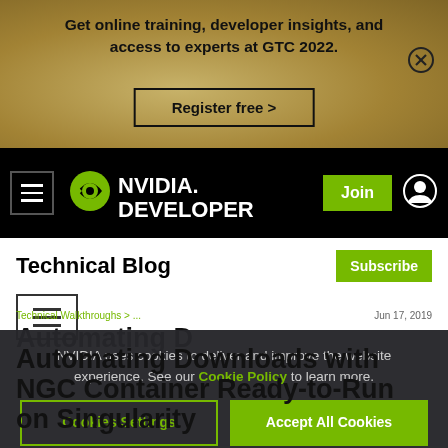[Figure (screenshot): NVIDIA GTC 2022 banner advertisement with gold/tan textured background]
Get online training, developer insights, and access to experts at GTC 2022.
Register free >
[Figure (screenshot): NVIDIA Developer navigation bar with logo, hamburger menu, Join button and account icon on black background]
Technical Blog
[Figure (screenshot): Hamburger/menu icon button]
Technical Walkthroughs
Jun 17, 2019
Automating Downloads with NGC Container Ready-to-Run on Singularity
NVIDIA uses cookies to deliver and improve the website experience. See our Cookie Policy to learn more.
Cookies Settings
Accept All Cookies